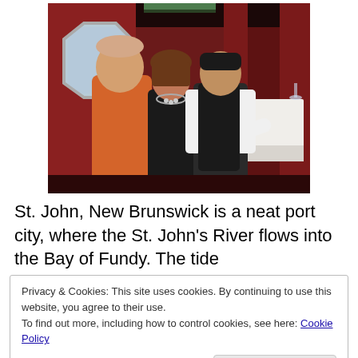[Figure (photo): Three people posing inside what appears to be a cruise ship or train dining car. A large man in an orange shirt is on the left, a woman in a black outfit with jewelry in the middle, and an Asian man in a black vest/waiter uniform on the right. The interior has red/burgundy decor with white tablecloths visible in the background.]
St. John, New Brunswick is a neat port city, where the St. John's River flows into the Bay of Fundy.  The tide
Privacy & Cookies: This site uses cookies. By continuing to use this website, you agree to their use.
To find out more, including how to control cookies, see here: Cookie Policy
[Figure (photo): Bottom portion of a second photo showing a waterfront or coastal scene, partially visible at the bottom of the page.]